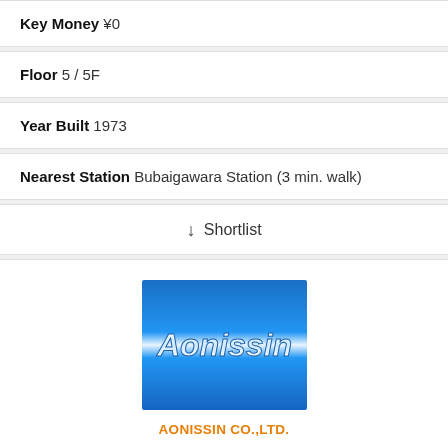Key Money ¥0
Floor 5 / 5F
Year Built 1973
Nearest Station Bubaigawara Station (3 min. walk)
↓ Shortlist
[Figure (logo): Aonissin Co., Ltd. company logo — blue gradient background with white italic text 'Aonissin']
AONISSIN CO.,LTD.
[Figure (photo): Exterior photo of a multi-story building against blue sky with utility wires visible]